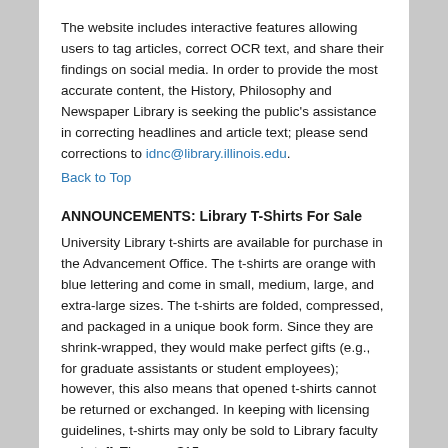The website includes interactive features allowing users to tag articles, correct OCR text, and share their findings on social media. In order to provide the most accurate content, the History, Philosophy and Newspaper Library is seeking the public's assistance in correcting headlines and article text; please send corrections to idnc@library.illinois.edu.
Back to Top
ANNOUNCEMENTS: Library T-Shirts For Sale
University Library t-shirts are available for purchase in the Advancement Office. The t-shirts are orange with blue lettering and come in small, medium, large, and extra-large sizes. The t-shirts are folded, compressed, and packaged in a unique book form. Since they are shrink-wrapped, they would make perfect gifts (e.g., for graduate assistants or student employees); however, this also means that opened t-shirts cannot be returned or exchanged. In keeping with licensing guidelines, t-shirts may only be sold to Library faculty and staff. They are $15 ...